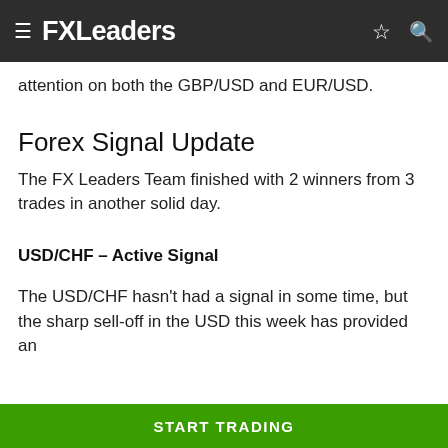FXLeaders
attention on both the GBP/USD and EUR/USD.
Forex Signal Update
The FX Leaders Team finished with 2 winners from 3 trades in another solid day.
USD/CHF – Active Signal
The USD/CHF hasn't had a signal in some time, but the sharp sell-off in the USD this week has provided an
START TRADING